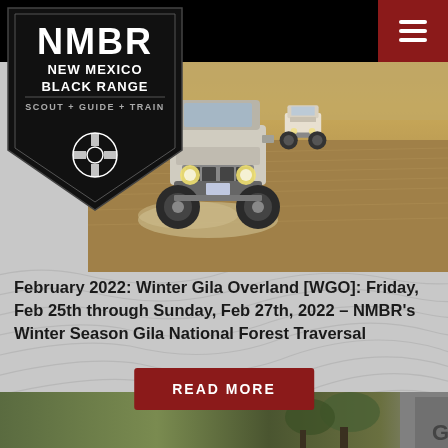[Figure (logo): NMBR New Mexico Black Range badge logo — black pentagon shield with white text: NMBR, NEW MEXICO, BLACK RANGE, SCOUT + GUIDE + TRAIN, and a zia sun symbol]
[Figure (photo): Two off-road vehicles (Jeep Wranglers) driving through golden dry grassland, front view, one closer and one farther back]
February 2022: Winter Gila Overland [WGO]: Friday, Feb 25th through Sunday, Feb 27th, 2022 – NMBR's Winter Season Gila National Forest Traversal
[Figure (other): Red 'READ MORE' button]
[Figure (photo): Bottom strip showing partial outdoor/landscape scene with letter G visible at right edge]